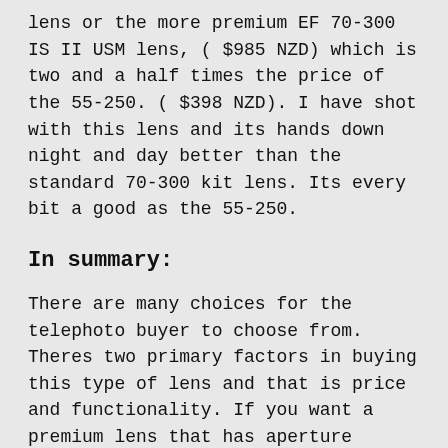lens or the more premium EF 70-300 IS II USM lens, ($985 NZD) which is two and a half times the price of the 55-250. ( $398 NZD). I have shot with this lens and its hands down night and day better than the standard 70-300 kit lens. Its every bit a good as the 55-250.
In summary:
There are many choices for the telephoto buyer to choose from. Theres two primary factors in buying this type of lens and that is price and functionality. If you want a premium lens that has aperture rings, smoother focus rings, improved lens glass types, weather sealing etc then premium is most likely your option. In this case functionality is the more important consideration.